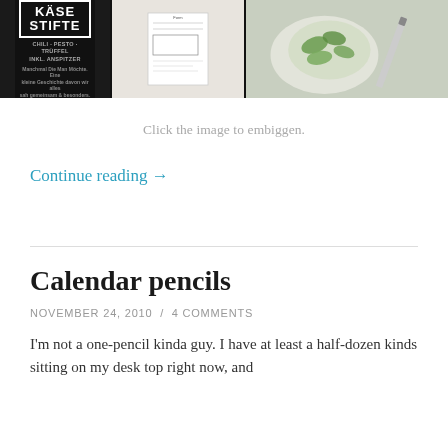[Figure (photo): A collage of three images side by side on a dark background: left shows a product labeled 'Käse Stifte' in a black and white design, center shows a document/form, right shows a salad with spinach leaves on a plate with a pencil.]
Click the image to embiggen.
Continue reading →
Calendar pencils
NOVEMBER 24, 2010 / 4 COMMENTS
I'm not a one-pencil kinda guy. I have at least a half-dozen kinds sitting on my desk top right now, and